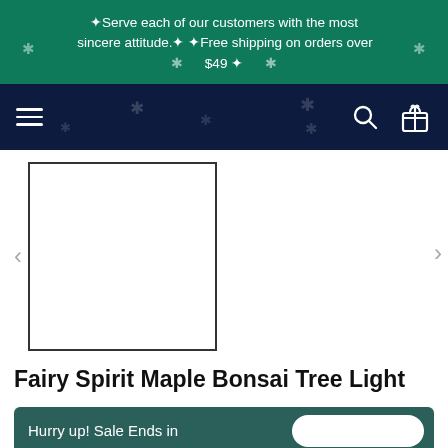✦Serve each of our customers with the most sincere attitude.✦ ✦Free shipping on orders over $49 ✦
[Figure (screenshot): Dark navy navigation bar with hamburger menu icon on left and search and gift icons on right, with decorative snowflakes]
[Figure (photo): Product thumbnail image placeholder, white box with black border]
Fairy Spirit Maple Bonsai Tree Light
Hurry up! Sale Ends in
USD $29.99  USD $60.00
Buy 2 save 6%
Buy 3 save 9%